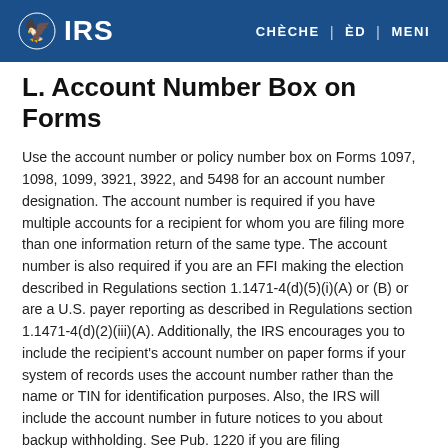IRS | CHÈCHE | ÈD | MENI
L. Account Number Box on Forms
Use the account number or policy number box on Forms 1097, 1098, 1099, 3921, 3922, and 5498 for an account number designation. The account number is required if you have multiple accounts for a recipient for whom you are filing more than one information return of the same type. The account number is also required if you are an FFI making the election described in Regulations section 1.1471-4(d)(5)(i)(A) or (B) or are a U.S. payer reporting as described in Regulations section 1.1471-4(d)(2)(iii)(A). Additionally, the IRS encourages you to include the recipient's account number on paper forms if your system of records uses the account number rather than the name or TIN for identification purposes. Also, the IRS will include the account number in future notices to you about backup withholding. See Pub. 1220 if you are filing electronically.